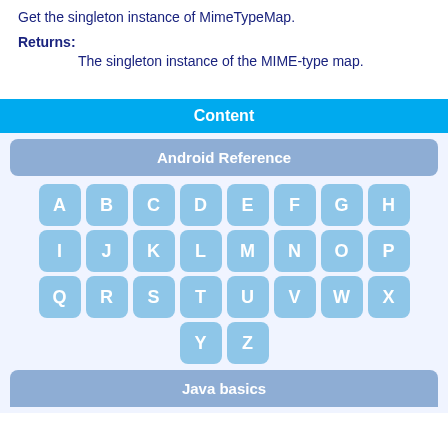Get the singleton instance of MimeTypeMap.
Returns:
    The singleton instance of the MIME-type map.
Content
Android Reference
[Figure (other): Alphabetical index grid with letter buttons A through Z arranged in rows]
Java basics